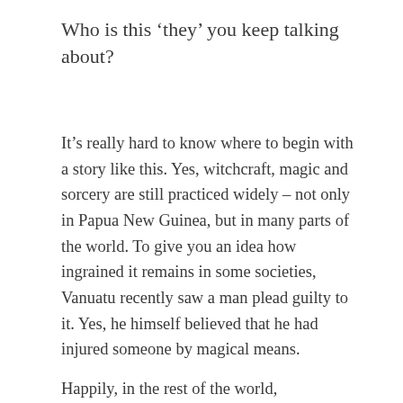Who is this ‘they’ you keep talking about?
It’s really hard to know where to begin with a story like this. Yes, witchcraft, magic and sorcery are still practiced widely – not only in Papua New Guinea, but in many parts of the world. To give you an idea how ingrained it remains in some societies, Vanuatu recently saw a man plead guilty to it. Yes, he himself believed that he had injured someone by magical means.
Happily, in the rest of the world,